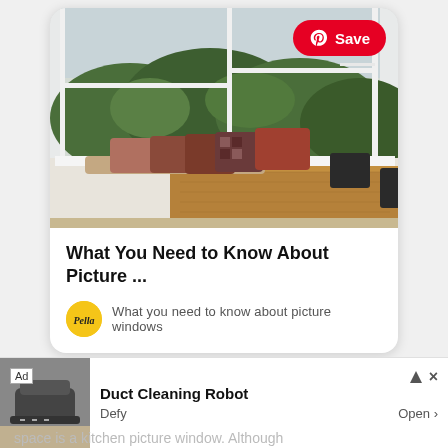[Figure (photo): Interior room with large picture windows overlooking lush green trees, featuring a wooden dining table with black chairs and cushioned window seat with patterned pillows]
What You Need to Know About Picture ...
What you need to know about picture windows
[Figure (logo): Pella brand logo - circular yellow badge with cursive Pella text]
Ad
Duct Cleaning Robot
Defy
Open >
And ... r space is a kitchen picture window. Although